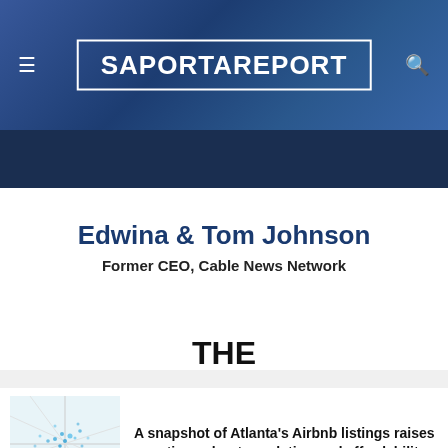[Figure (screenshot): SaportaReport website header with dark blue city background, hamburger menu icon on left, search icon on right, and logo in center white-bordered box]
Edwina & Tom Johnson
Former CEO, Cable News Network
THE
Related Stories
A snapshot of Atlanta's Airbnb listings raises questions about regulation and affordability